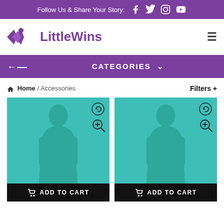Follow Us & Share Your Story: [Facebook] [Twitter] [Instagram] [YouTube]
[Figure (logo): LittleWins logo with purple diamond/person icon and purple text 'LittleWins']
CATEGORIES V
Home / Accessories   Filters +
[Figure (photo): Product placeholder image with teal background and human silhouette, refresh and zoom icons, ADD TO CART button]
[Figure (photo): Product placeholder image with teal background and human silhouette, refresh and zoom icons, ADD TO CART button]